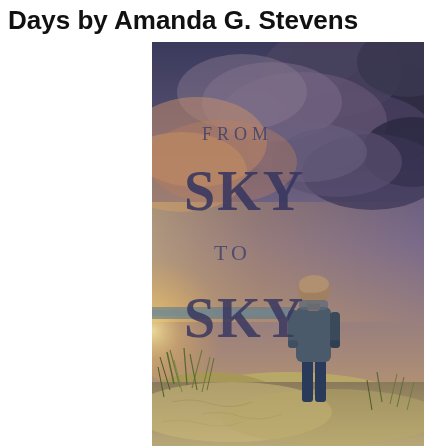Days by Amanda G. Stevens
[Figure (illustration): Book cover of 'From Sky to Sky' by Amanda G. Stevens. A dramatic sky with dark storm clouds and warm golden sunset light on the left. A solitary figure stands on a sand dune with beach grass, viewed from behind, looking out toward the sea. The title 'FROM SKY TO SKY' is displayed in large serif letters overlaid on the sky.]